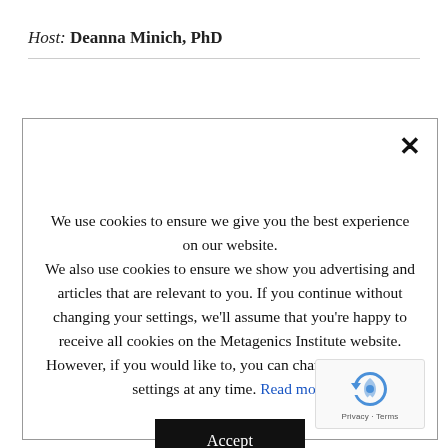Host: Deanna Minich, PhD
We use cookies to ensure we give you the best experience on our website. We also use cookies to ensure we show you advertising and articles that are relevant to you. If you continue without changing your settings, we'll assume that you're happy to receive all cookies on the Metagenics Institute website. However, if you would like to, you can change your cookie settings at any time. Read more
Accept